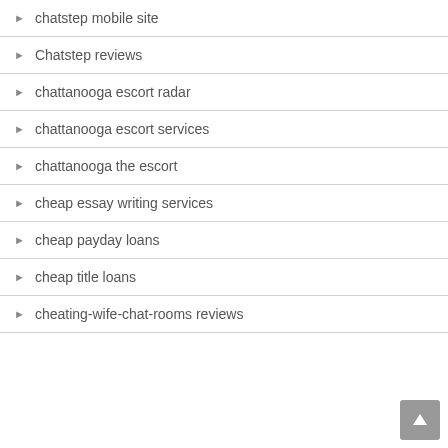chatstep mobile site
Chatstep reviews
chattanooga escort radar
chattanooga escort services
chattanooga the escort
cheap essay writing services
cheap payday loans
cheap title loans
cheating-wife-chat-rooms reviews